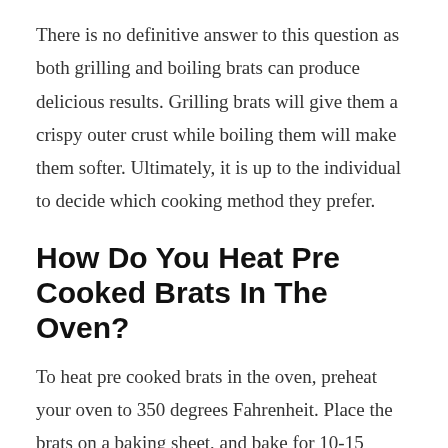There is no definitive answer to this question as both grilling and boiling brats can produce delicious results. Grilling brats will give them a crispy outer crust while boiling them will make them softer. Ultimately, it is up to the individual to decide which cooking method they prefer.
How Do You Heat Pre Cooked Brats In The Oven?
To heat pre cooked brats in the oven, preheat your oven to 350 degrees Fahrenheit. Place the brats on a baking sheet, and bake for 10-15 minutes, or until heated through.
How Long Do You Have To Boil